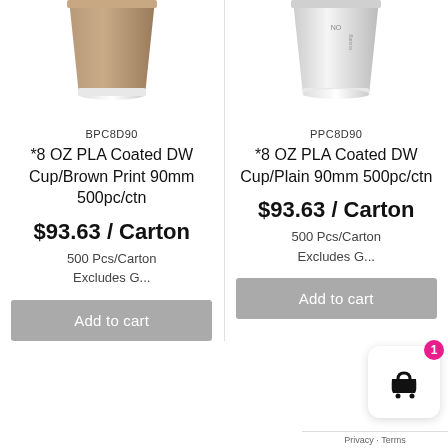[Figure (photo): Brown/tan ribbed paper coffee cup, partially cropped at top]
[Figure (photo): White paper coffee cup with text printing, partially cropped at top]
BPC8D90
*8 OZ PLA Coated DW Cup/Brown Print 90mm 500pc/ctn
$93.63 / Carton
500 Pcs/Carton
Excludes G...
Add to cart
PPC8D90
*8 OZ PLA Coated DW Cup/Plain 90mm 500pc/ctn
$93.63 / Carton
500 Pcs/Carton
Excludes G...
Add to cart
[Figure (illustration): Shopping cart widget with pink badge showing number 1]